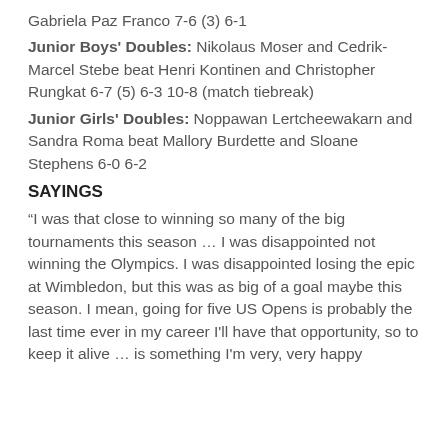Gabriela Paz Franco 7-6 (3) 6-1
Junior Boys' Doubles: Nikolaus Moser and Cedrik-Marcel Stebe beat Henri Kontinen and Christopher Rungkat 6-7 (5) 6-3 10-8 (match tiebreak)
Junior Girls' Doubles: Noppawan Lertcheewakarn and Sandra Roma beat Mallory Burdette and Sloane Stephens 6-0 6-2
SAYINGS
“I was that close to winning so many of the big tournaments this season … I was disappointed not winning the Olympics. I was disappointed losing the epic at Wimbledon, but this was as big of a goal maybe this season. I mean, going for five US Opens is probably the last time ever in my career I'll have that opportunity, so to keep it alive … is something I'm very, very happy